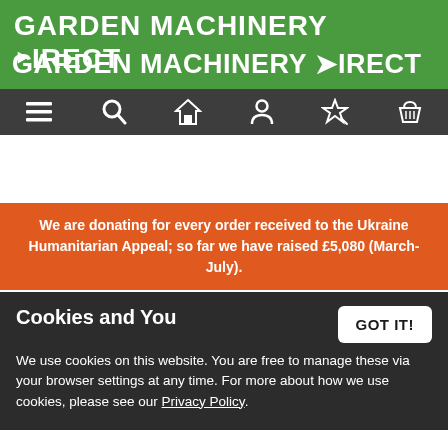GARDEN MACHINERY DIRECT
[Figure (other): Navigation bar with icons: menu (hamburger), search (magnifying glass), home (house), account (person), wishlist (star with scissors), basket (shopping cart)]
We are donating for every order received to the Ukraine Humanitarian Appeal; so far we have raised £5,080 (March-July).
Home > Accessories & Attachments > Blower Nozzles & Vacuum Kits
STIHL FLAT STRAIGHT NOZZLE (BGA)
Cookies and You
We use cookies on this website. You are free to manage these via your browser settings at any time. For more about how we use cookies, please see our Privacy Policy.